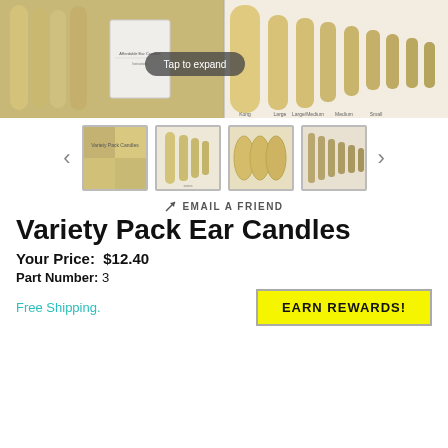[Figure (photo): Main product image showing variety pack ear candles — left half shows bundled candles with instruction booklet, right half shows individual candles of different sizes (Kong, Large, Large/Medium, Medium, Small) laid out on white background. 'Tap to expand' overlay button visible.]
[Figure (photo): Row of four thumbnail images of ear candle variety pack product from different angles.]
EMAIL A FRIEND
Variety Pack Ear Candles
Your Price:  $12.40
Part Number: 3
Free Shipping.
EARN REWARDS!